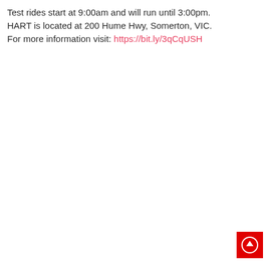Test rides start at 9:00am and will run until 3:00pm. HART is located at 200 Hume Hwy, Somerton, VIC. For more information visit: https://bit.ly/3qCqUSH
[Figure (other): Red square button with a white upward arrow circle icon in the bottom-right corner of the page]